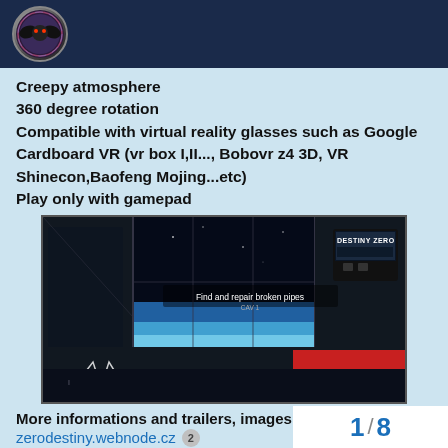[Logo/icon header bar]
Creepy atmosphere
360 degree rotation
Compatible with virtual reality glasses such as Google Cardboard VR (vr box I,II..., Bobovr z4 3D, VR Shinecon,Baofeng Mojing...etc)
Play only with gamepad
[Figure (screenshot): Screenshot of a VR space station game showing 'Find and repair broken pipes' text and 'DESTINY ZERO' logo, with view of Earth from orbit through windows]
More informations and trailers, images on website:
zerodestiny.webnode.cz  2
Next my vr games for google cardboard
1 / 8